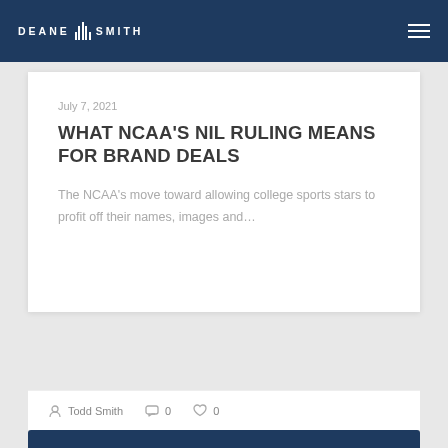DEANE SMITH
July 7, 2021
WHAT NCAA'S NIL RULING MEANS FOR BRAND DEALS
The NCAA's move toward allowing college sports stars to profit off their names, images and...
Todd Smith  0  0